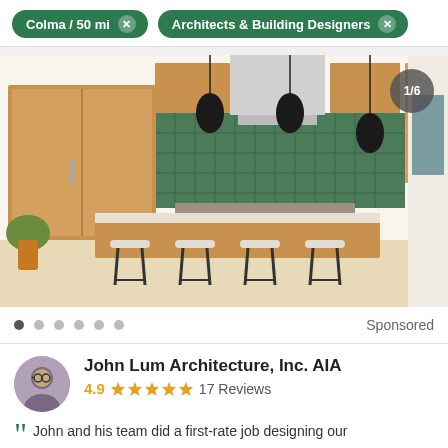Colma / 50 mi × | Architects & Building Designers ×
[Figure (photo): Modern kitchen interior with warm wood cabinets, green tile backsplash, kitchen island with white bar stools, pendant lights, and stainless steel appliances. Badge showing 1/6 in top right corner.]
Sponsored
John Lum Architecture, Inc. AIA
4.9 ★★★★★ 17 Reviews
John and his team did a first-rate job designing our